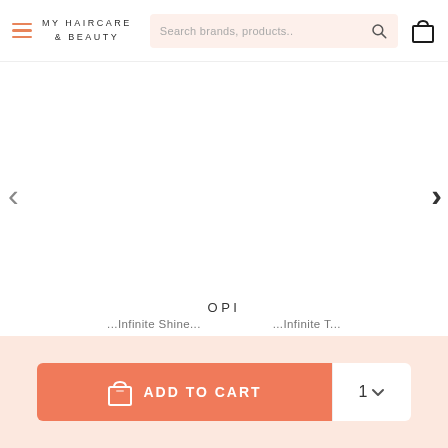MY HAIRCARE & BEAUTY — Search brands, products..
[Figure (screenshot): Product image area with left and right navigation arrows on a white background]
OPI
...Infinite Shine...
[Figure (other): Add to cart button with shopping bag icon and quantity selector showing 1]